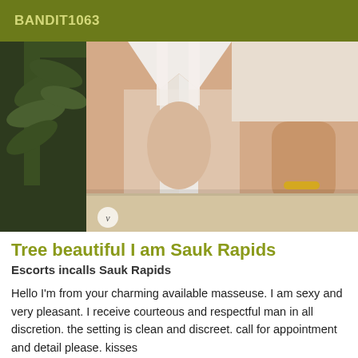BANDIT1063
[Figure (photo): A person wearing a white lingerie/swimwear outfit, with a plant visible in the background. A gold bracelet is visible on their wrist.]
Tree beautiful I am Sauk Rapids
Escorts incalls Sauk Rapids
Hello I'm from your charming available masseuse. I am sexy and very pleasant. I receive courteous and respectful man in all discretion. the setting is clean and discreet. call for appointment and detail please. kisses